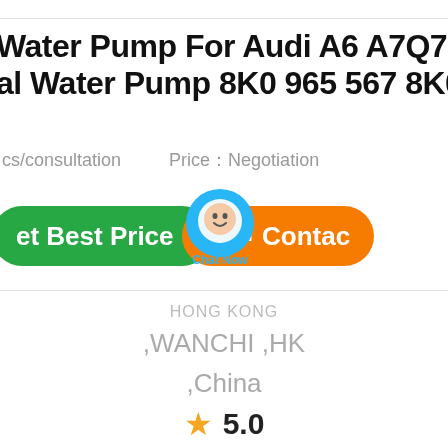Water Pump For Audi A6 A7Q7 A... al Water Pump 8K0 965 567 8K0...
cs/consultation   Price：Negotiation
[Figure (screenshot): Green 'Get Best Price' button on left, orange 'Contact' button on right, with a blue Chat Now circular badge overlapping in the middle]
,WANCHI ,HK
,China
5.0